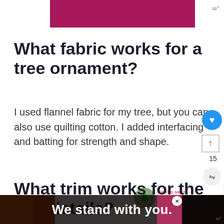[Figure (other): Magenta/pink banner bar at the top of the page with a small logo watermark to the right]
What fabric works for a tree ornament?
I used flannel fabric for my tree, but you can also use quilting cotton. I added interfacing and batting for strength and shape.
What trim works for the tree details?
[Figure (infographic): Advertisement bar at the bottom with colorful background and text 'We stand with you.']